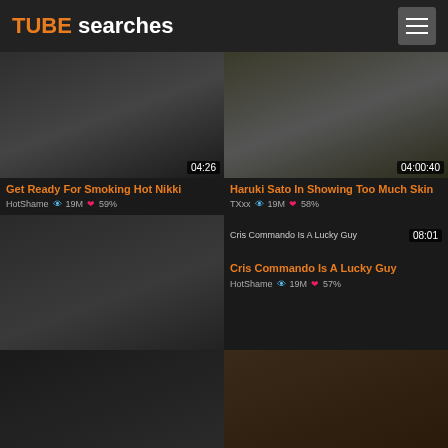TUBE searches
[Figure (photo): Video thumbnail with duration 04:26]
Get Ready For Smoking Hot Nikki
HotShame 👁 19M ❤ 59%
[Figure (photo): Video thumbnail with duration 04:00:40]
Haruki Sato In Showing Too Much Skin
TXxx 👁 19M ❤ 58%
[Figure (photo): Video thumbnail with duration 05:31]
Turned On Black Haired Lesbian Bombshells Jayden
PornOld 👁 19M ❤ 58%
[Figure (photo): Video thumbnail Cris Commando Is A Lucky Guy, duration 08:01]
Cris Commando Is A Lucky Guy
HotShame 👁 19M ❤ 57%
[Figure (photo): Partial video thumbnail bottom left]
[Figure (photo): Partial video thumbnail bottom right]